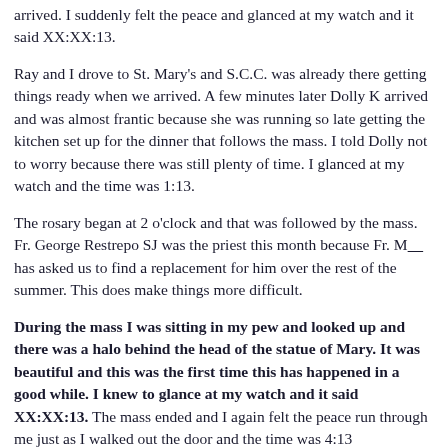arrived. I suddenly felt the peace and glanced at my watch and it said XX:XX:13.
Ray and I drove to St. Mary's and S.C.C. was already there getting things ready when we arrived. A few minutes later Dolly K arrived and was almost frantic because she was running so late getting the kitchen set up for the dinner that follows the mass. I told Dolly not to worry because there was still plenty of time. I glanced at my watch and the time was 1:13.
The rosary began at 2 o'clock and that was followed by the mass. Fr. George Restrepo SJ was the priest this month because Fr. M____ has asked us to find a replacement for him over the rest of the summer. This does make things more difficult.
During the mass I was sitting in my pew and looked up and there was a halo behind the head of the statue of Mary. It was beautiful and this was the first time this has happened in a good while. I knew to glance at my watch and it said XX:XX:13. The mass ended and I again felt the peace run through me just as I walked out the door and the time was 4:13
A covered dish dinner followed downstairs in the parish hall and it was very nice. There are some very good cooks around here. When everything was over and we had cleaned up I walked into the main